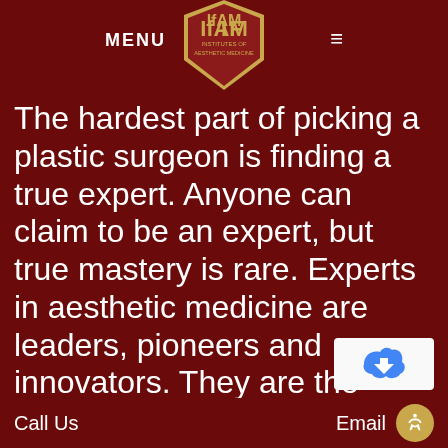MENU [IFAM Logo] ☰
The hardest part of picking a plastic surgeon is finding a true expert. Anyone can claim to be an expert, but true mastery is rare. Experts in aesthetic medicine are leaders, pioneers and innovators. They are the surgeons who develop cutting-edge techniques, who craft beauty, and who are recognized by their peers for their accomplishments and technical mastery.
Call Us   Email